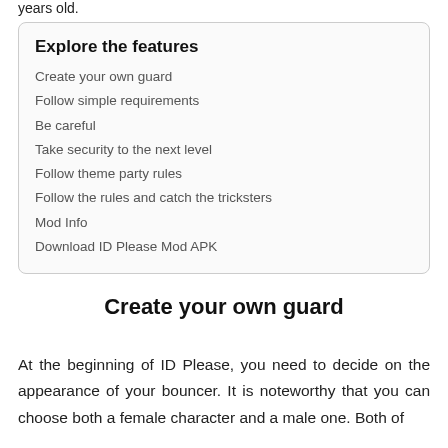years old.
Explore the features
Create your own guard
Follow simple requirements
Be careful
Take security to the next level
Follow theme party rules
Follow the rules and catch the tricksters
Mod Info
Download ID Please Mod APK
Create your own guard
At the beginning of ID Please, you need to decide on the appearance of your bouncer. It is noteworthy that you can choose both a female character and a male one. Both of